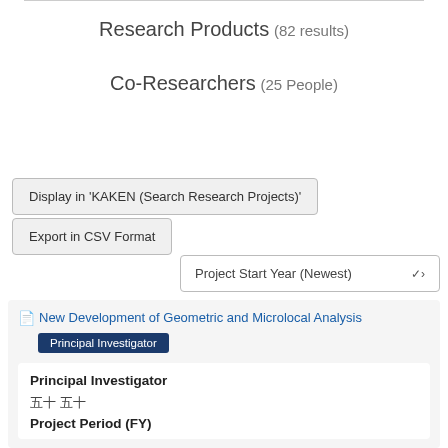Research Products (82 results)
Co-Researchers (25 People)
Display in 'KAKEN (Search Research Projects)'
Export in CSV Format
Project Start Year (Newest)
New Development of Geometric and Microlocal Analysis
Principal Investigator
Principal Investigator
五十 五十
Project Period (FY)